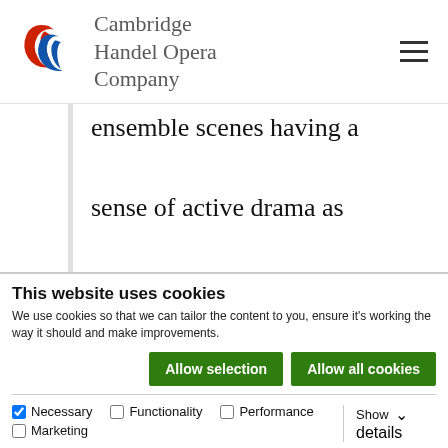[Figure (logo): Cambridge Handel Opera Company logo with stylized CHC letters in red and blue, and company name in grey serif text]
ensemble scenes having a sense of active drama as those listening responded in a way that drew them
This website uses cookies
We use cookies so that we can tailor the content to you, ensure it's working the way it should and make improvements.
Allow selection | Allow all cookies
Necessary  Functionality  Performance  Marketing  Show details